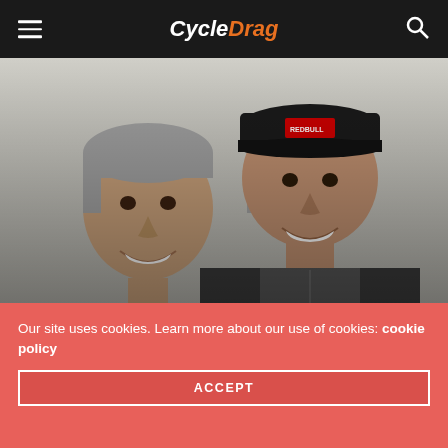CycleDrag
[Figure (photo): Two men smiling for a photo. The man on the left is older with gray hair wearing a dark hoodie. The man on the right is younger wearing a baseball cap and a Columbia jacket.]
Hector Arana Sr. and Jr.
Our site uses cookies. Learn more about our use of cookies: cookie policy
ACCEPT